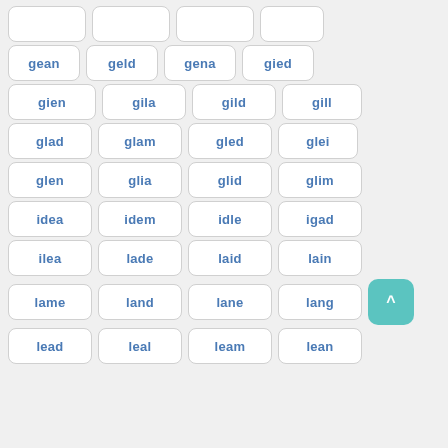gean, geld, gena, gied
gien, gila, gild, gill
glad, glam, gled, glei
glen, glia, glid, glim
idea, idem, idle, igad
ilea, lade, laid, lain
lame, land, lane, lang
lead, leal, leam, lean